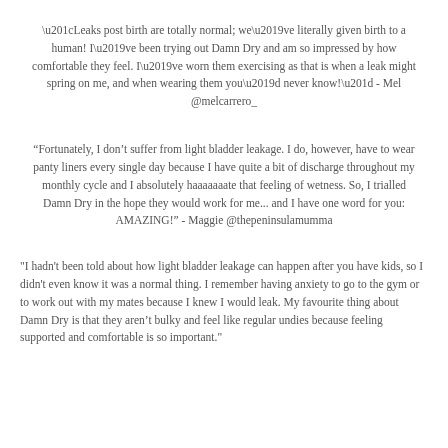“Leaks post birth are totally normal; we’ve literally given birth to a human! I’ve been trying out Damn Dry and am so impressed by how comfortable they feel. I’ve worn them exercising as that is when a leak might spring on me, and when wearing them you’d never know!” - Mel @melcarrero_
“Fortunately, I don’t suffer from light bladder leakage. I do, however, have to wear panty liners every single day because I have quite a bit of discharge throughout my monthly cycle and I absolutely haaaaaaate that feeling of wetness. So, I trialled Damn Dry in the hope they would work for me... and I have one word for you: AMAZING!” - Maggie @thepeninsulamumma
"I hadn't been told about how light bladder leakage can happen after you have kids, so I didn't even know it was a normal thing. I remember having anxiety to go to the gym or to work out with my mates because I knew I would leak. My favourite thing about Damn Dry is that they aren’t bulky and feel like regular undies because feeling supported and comfortable is so important."